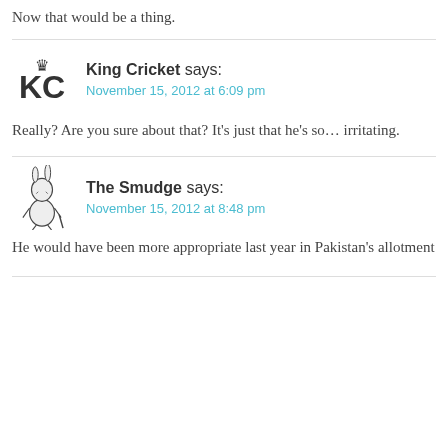Now that would be a thing.
King Cricket says:
November 15, 2012 at 6:09 pm
Really? Are you sure about that? It's just that he's so… irritating.
The Smudge says:
November 15, 2012 at 8:48 pm
He would have been more appropriate last year in Pakistan's allotment